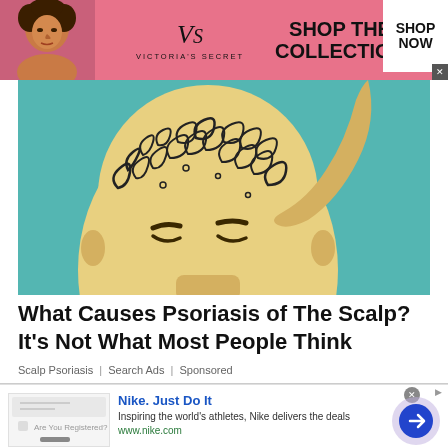[Figure (photo): Victoria's Secret advertisement banner with pink background, model on left, VS logo and text 'SHOP THE COLLECTION', white button 'SHOP NOW']
[Figure (illustration): Illustration of a bald human head with closed eyes, viewed from above, with swirling black patterns representing psoriasis on the scalp, teal/turquoise background, hand touching the head]
What Causes Psoriasis of The Scalp? It's Not What Most People Think
Scalp Psoriasis | Search Ads | Sponsored
[Figure (screenshot): Nike advertisement with logo image on left, headline 'Nike. Just Do It', description 'Inspiring the world's athletes, Nike delivers the deals', URL www.nike.com, and a circular blue play/arrow button on right]